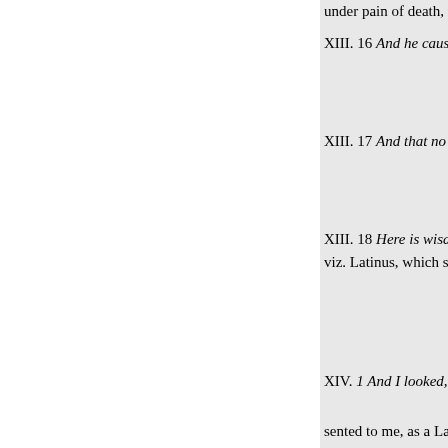under pain of death, to yield thei
XIII. 16 And he caused all, both right hand, and in their forehead profession of themselves, to be th countenance to declare it, and wi
XIII. 17 And that no man might b number of his name. And he exco from all liberty of trade and traff reverence and obedience to that b
XIII. 18 Here is wisdom. Let him number of a man; and his numbe sagacity of any reader: let him, th letters, which are in the name of princes, viz. Latinus, which sway number of six hundred sixty and
XIV. 1 And I looked, and, lo, a L thousand, having his Father's na representations of the Two Great Christ the Blessed Protector them
sented to me, as a Lamb standing